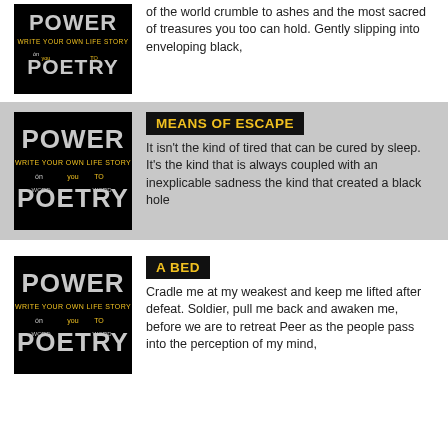[Figure (illustration): Black book cover with POWER POETRY text in stylized letters]
of the world crumble to ashes and the most sacred of treasures you too can hold. Gently slipping into enveloping black,
[Figure (illustration): Black book cover with POWER POETRY text in stylized letters]
MEANS OF ESCAPE
It isn't the kind of tired that can be cured by sleep. It's the kind that is always coupled with an inexplicable sadness the kind that created a black hole
[Figure (illustration): Black book cover with POWER POETRY text in stylized letters]
A BED
Cradle me at my weakest and keep me lifted after defeat. Soldier, pull me back and awaken me, before we are to retreat Peer as the people pass into the perception of my mind,